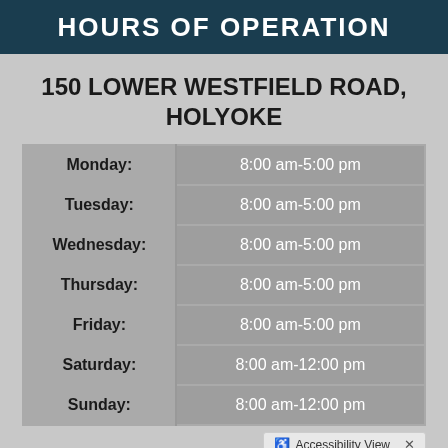HOURS OF OPERATION
150 LOWER WESTFIELD ROAD, HOLYOKE
| Day | Hours |
| --- | --- |
| Monday: | 8:00 am-5:00 pm |
| Tuesday: | 8:00 am-5:00 pm |
| Wednesday: | 8:00 am-5:00 pm |
| Thursday: | 8:00 am-5:00 pm |
| Friday: | 8:00 am-5:00 pm |
| Saturday: | 8:00 am-12:00 pm |
| Sunday: | 8:00 am-12:00 pm |
Accessibility View